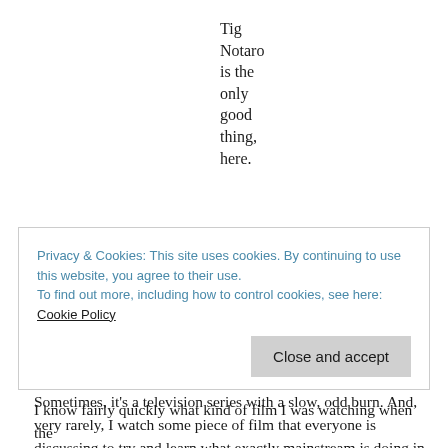Tig Notaro is the only good thing, here.
As an occasional editor of horror, I feel an obligation to trying to keep up with what is the big thing happening in horror, when I see one around. Often, this is a book that I may enjoy or not. Sometimes, it's a television series with a slow, odd burn. And, very rarely, I watch some piece of film that everyone is discussing to try and learn what exactly mainstream is doing in the genre, to get a sense of where the broad perceptions are. This is often enjoyable. There's a harrowing and memorable
Privacy & Cookies: This site uses cookies. By continuing to use this website, you agree to their use.
To find out more, including how to control cookies, see here: Cookie Policy
Close and accept
I know fairly quickly what kind of film I was watching when the